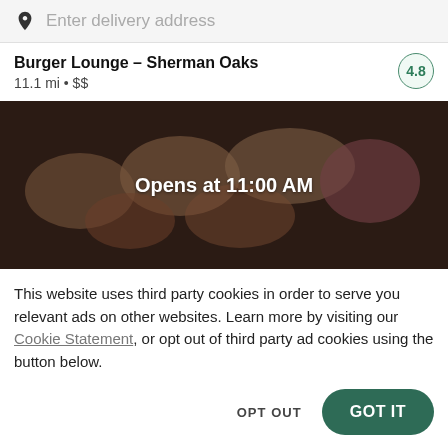Enter delivery address
Burger Lounge – Sherman Oaks
11.1 mi • $$
[Figure (photo): Sushi platter food photo with dark overlay showing text 'Opens at 11:00 AM']
This website uses third party cookies in order to serve you relevant ads on other websites. Learn more by visiting our Cookie Statement, or opt out of third party ad cookies using the button below.
OPT OUT
GOT IT